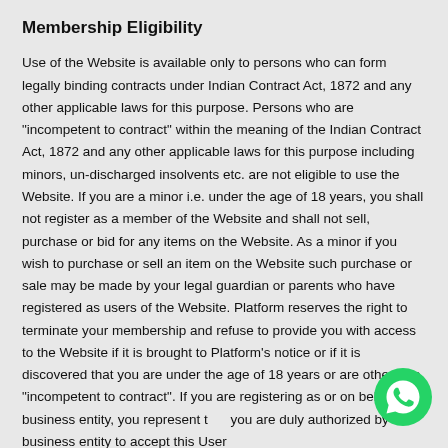Membership Eligibility
Use of the Website is available only to persons who can form legally binding contracts under Indian Contract Act, 1872 and any other applicable laws for this purpose. Persons who are "incompetent to contract" within the meaning of the Indian Contract Act, 1872 and any other applicable laws for this purpose including minors, un-discharged insolvents etc. are not eligible to use the Website. If you are a minor i.e. under the age of 18 years, you shall not register as a member of the Website and shall not sell, purchase or bid for any items on the Website. As a minor if you wish to purchase or sell an item on the Website such purchase or sale may be made by your legal guardian or parents who have registered as users of the Website. Platform reserves the right to terminate your membership and refuse to provide you with access to the Website if it is brought to Platform's notice or if it is discovered that you are under the age of 18 years or are otherwise "incompetent to contract". If you are registering as or on behalf of a business entity, you represent that you are duly authorized by the business entity to accept this User Agreement and that ...
[Figure (illustration): WhatsApp contact button (green circle with white phone icon)]